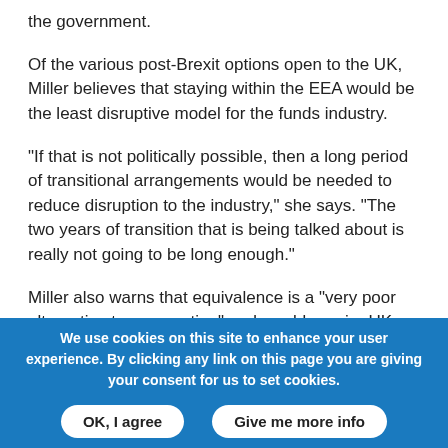the government.
Of the various post-Brexit options open to the UK, Miller believes that staying within the EEA would be the least disruptive model for the funds industry.
"If that is not politically possible, then a long period of transitional arrangements would be needed to reduce disruption to the industry," she says. "The two years of transition that is being talked about is really not going to be long enough."
Miller also warns that equivalence is a “very poor alternative to passporting” and would require UK firms to apply to the European Securities and Markets Authority
We use cookies on this site to enhance your user experience. By clicking any link on this page you are giving your consent for us to set cookies.
OK, I agree
Give me more info